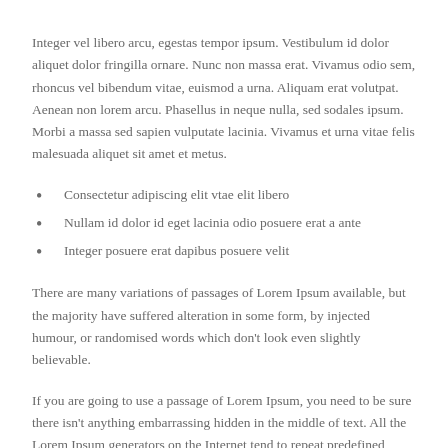Integer vel libero arcu, egestas tempor ipsum. Vestibulum id dolor aliquet dolor fringilla ornare. Nunc non massa erat. Vivamus odio sem, rhoncus vel bibendum vitae, euismod a urna. Aliquam erat volutpat. Aenean non lorem arcu. Phasellus in neque nulla, sed sodales ipsum. Morbi a massa sed sapien vulputate lacinia. Vivamus et urna vitae felis malesuada aliquet sit amet et metus.
Consectetur adipiscing elit vtae elit libero
Nullam id dolor id eget lacinia odio posuere erat a ante
Integer posuere erat dapibus posuere velit
There are many variations of passages of Lorem Ipsum available, but the majority have suffered alteration in some form, by injected humour, or randomised words which don't look even slightly believable.
If you are going to use a passage of Lorem Ipsum, you need to be sure there isn't anything embarrassing hidden in the middle of text. All the Lorem Ipsum generators on the Internet tend to repeat predefined chunks as necessary, making this the first